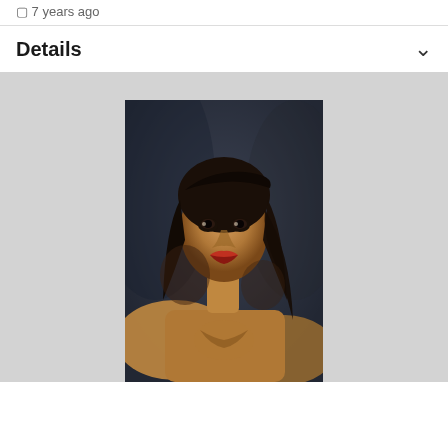7 years ago
Details
[Figure (photo): Portrait photo of a young woman with dark hair, dramatic lighting against a dark blue-gray background, looking intensely at camera]